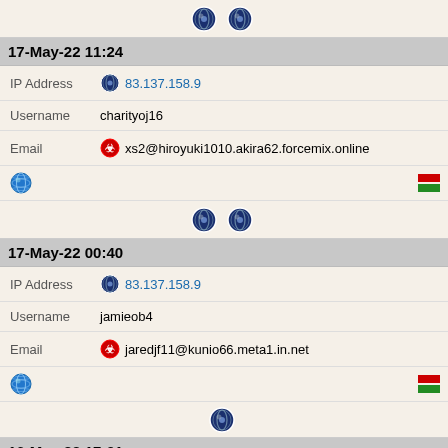[Figure (other): Two onion (Tor) icons side by side]
17-May-22 11:24
IP Address 83.137.158.9
Username charityoj16
Email xs2@hiroyuki1010.akira62.forcemix.online
[Figure (other): Globe icon with red and green flag indicators]
[Figure (other): Two onion (Tor) icons side by side]
17-May-22 00:40
IP Address 83.137.158.9
Username jamieob4
Email jaredjf11@kunio66.meta1.in.net
[Figure (other): Globe icon with red and green flag indicators]
[Figure (other): Single onion (Tor) icon]
16-May-22 17:01
IP Address 83.137.158.9
Username sherriezd60
Email florinejo4@hiraku12.officemail.in.net